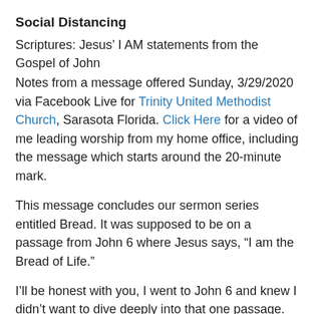Social Distancing
Scriptures: Jesus’ I AM statements from the Gospel of John
Notes from a message offered Sunday, 3/29/2020 via Facebook Live for Trinity United Methodist Church, Sarasota Florida. Click Here for a video of me leading worship from my home office, including the message which starts around the 20-minute mark.
This message concludes our sermon series entitled Bread. It was supposed to be on a passage from John 6 where Jesus says, “I am the Bread of Life.”
I’ll be honest with you, I went to John 6 and knew I didn’t want to dive deeply into that one passage. It’s complicated. It’s full of misunderstanding and arguments and Jesus trying to explain his real presence in Holy